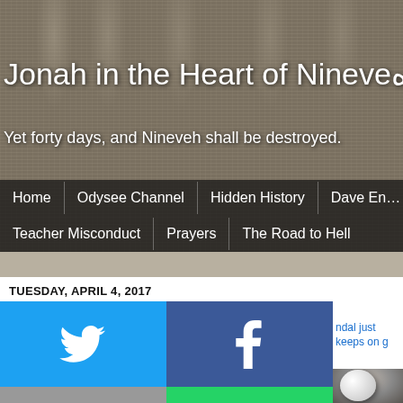[Figure (screenshot): Website hero banner with black and white etching of ancient columns/Nineveh in background]
Jonah in the Heart of Nineveh
Yet forty days, and Nineveh shall be destroyed.
Home | Odysee Channel | Hidden History | Dave En... | Teacher Misconduct | Prayers | The Road to Hell
TUESDAY, APRIL 4, 2017
[Figure (infographic): Social share buttons grid: Twitter (blue), Facebook (dark blue), Email (gray), WhatsApp (green), SMS (light blue), Other share (light blue)]
ndal just keeps on g
[Figure (photo): Photo of soccer player holding ball, partially visible on right side]